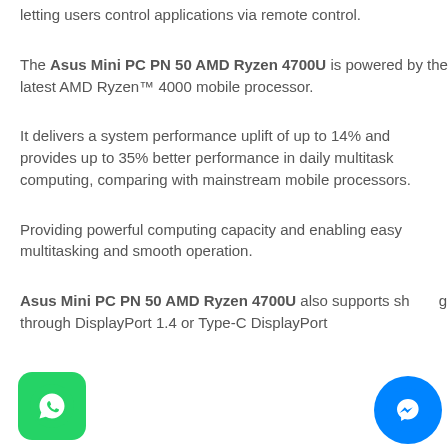letting users control applications via remote control.
The Asus Mini PC PN 50 AMD Ryzen 4700U is powered by the latest AMD Ryzen™ 4000 mobile processor.
It delivers a system performance uplift of up to 14% and provides up to 35% better performance in daily multitask computing, comparing with mainstream mobile processors.
Providing powerful computing capacity and enabling easy multitasking and smooth operation.
Asus Mini PC PN 50 AMD Ryzen 4700U also supports sharing through DisplayPort 1.4 or Type-C DisplayPort